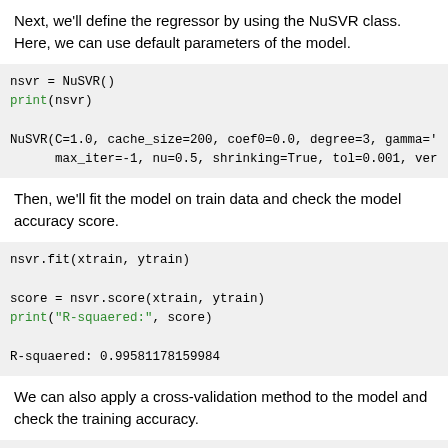Next, we'll define the regressor by using the NuSVR class. Here, we can use default parameters of the model.
nsvr = NuSVR()
print(nsvr)

NuSVR(C=1.0, cache_size=200, coef0=0.0, degree=3, gamma='
      max_iter=-1, nu=0.5, shrinking=True, tol=0.001, ver
Then, we'll fit the model on train data and check the model accuracy score.
nsvr.fit(xtrain, ytrain)

score = nsvr.score(xtrain, ytrain)
print("R-squaered:", score)

R-squaered: 0.99581178159984
We can also apply a cross-validation method to the model and check the training accuracy.
cv_score = cross_val_score(nsvr, x, y, cv = 10)
print("CV mean score: ", cv_score.mean())